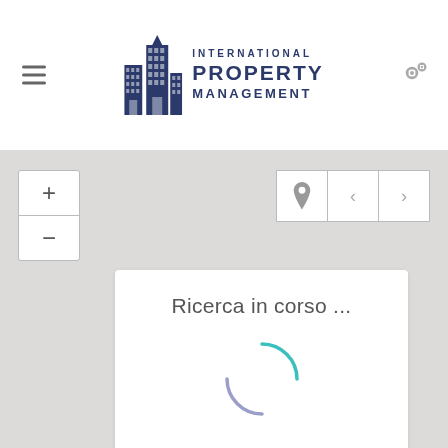[Figure (logo): International Property Management logo with building icon and text in dark blue]
[Figure (screenshot): Map interface with zoom controls (+/-) on left, navigation buttons (location pin, left arrow, right arrow) on right, and a white search card showing 'Ricerca in corso ...' with a loading spinner animation]